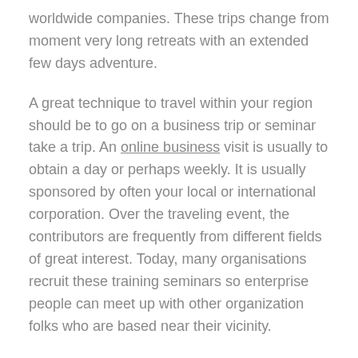worldwide companies. These trips change from moment very long retreats with an extended few days adventure.
A great technique to travel within your region should be to go on a business trip or seminar take a trip. An online business visit is usually to obtain a day or perhaps weekly. It is usually sponsored by often your local or international corporation. Over the traveling event, the contributors are frequently from different fields of great interest. Today, many organisations recruit these training seminars so enterprise people can meet up with other organization folks who are based near their vicinity.
Seminar holiday is yet another great solution for entrepreneurs who want to vacation but do not possess very much budget for it. It can be an enjoyable technique to take a trip for managers or substantial-amount management from unique departments or locations. Seminar take a trip fees is an